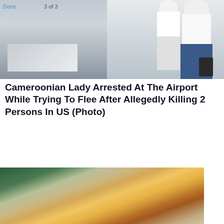[Figure (photo): Top image showing two side-by-side photos: left shows a blurred indoor/airport scene with 'Done' and '3 of 3' UI labels, right shows a person in blue jeans and white shirt with luggage at what appears to be an airport]
Cameroonian Lady Arrested At The Airport While Trying To Flee After Allegedly Killing 2 Persons In US (Photo)
[Figure (photo): Photo of a blonde woman wearing a yellow knit sweater, resting her arm on a surface, looking downward]
ADVERTISEMENT
[Figure (infographic): Advertisement for Leesburg Premium Outlets: Save Up to 65% - Leesburg Premium Outlets, with a black circular icon with double arrow symbol and a blue diamond navigation arrow icon]